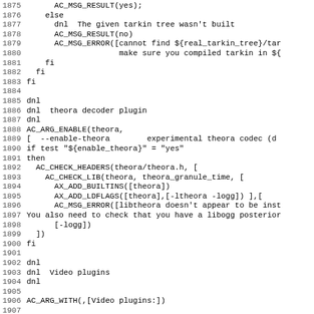Source code / configure script lines 1875-1907 showing shell script with autoconf macros for tarkin and theora decoder plugin configuration